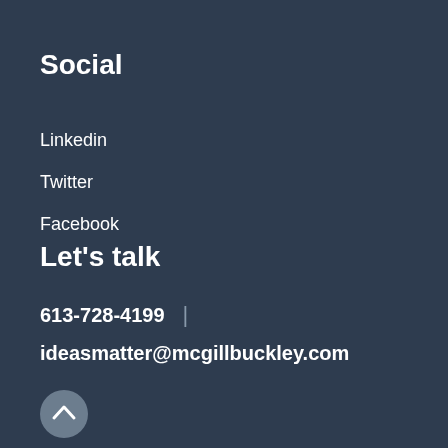Social
Linkedin
Twitter
Facebook
Let's talk
613-728-4199 | ideasmatter@mcgillbuckley.com
[Figure (other): Circular scroll-up button with chevron icon]